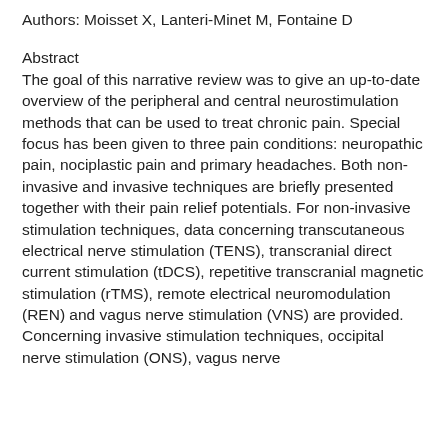Authors: Moisset X, Lanteri-Minet M, Fontaine D
Abstract
The goal of this narrative review was to give an up-to-date overview of the peripheral and central neurostimulation methods that can be used to treat chronic pain. Special focus has been given to three pain conditions: neuropathic pain, nociplastic pain and primary headaches. Both non-invasive and invasive techniques are briefly presented together with their pain relief potentials. For non-invasive stimulation techniques, data concerning transcutaneous electrical nerve stimulation (TENS), transcranial direct current stimulation (tDCS), repetitive transcranial magnetic stimulation (rTMS), remote electrical neuromodulation (REN) and vagus nerve stimulation (VNS) are provided. Concerning invasive stimulation techniques, occipital nerve stimulation (ONS), vagus nerve